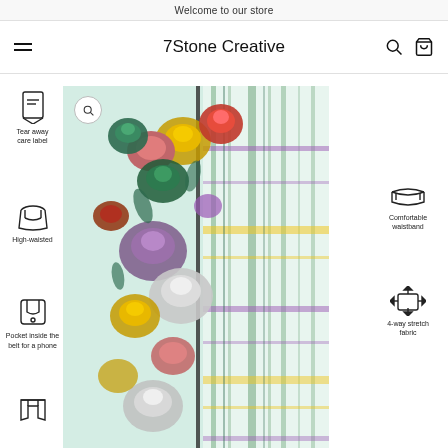Welcome to our store
7Stone Creative
[Figure (photo): Product photo of high-waisted yoga leggings with floral rose print and plaid pattern, shown from the waist down]
Tear away care label
High-waisted
Pocket inside the belt for a phone
Comfortable waistband
4-way stretch fabric